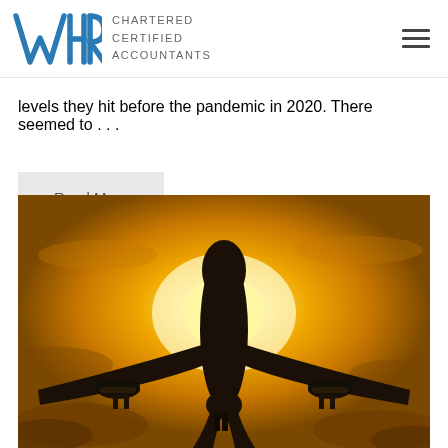WHR CHARTERED CERTIFIED ACCOUNTANTS
levels they hit before the pandemic in 2020. There seemed to …
Read More
[Figure (photo): Silhouette of an airplane viewed from below and front, against a golden sunset sky with clouds]